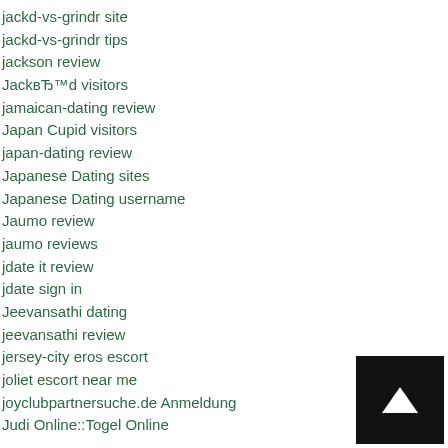jackd-vs-grindr site
jackd-vs-grindr tips
jackson review
JackвЂ™d visitors
jamaican-dating review
Japan Cupid visitors
japan-dating review
Japanese Dating sites
Japanese Dating username
Jaumo review
jaumo reviews
jdate it review
jdate sign in
Jeevansathi dating
jeevansathi review
jersey-city eros escort
joliet escort near me
joyclubpartnersuche.de Anmeldung
Judi Online::Togel Online
[Figure (other): Black square button with white upward arrow (back-to-top navigation button)]